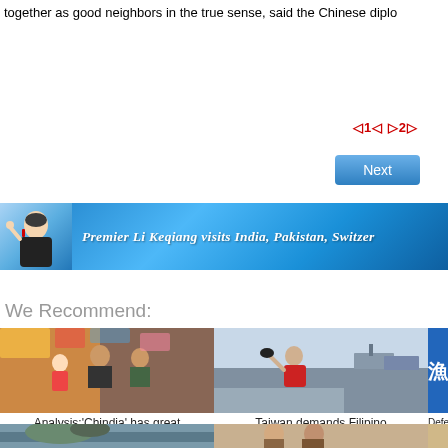together as good neighbors in the true sense, said the Chinese diplo
◁1◁ ▷2▷
[Figure (screenshot): Next button (blue gradient)]
[Figure (photo): Banner: Premier Li Keqiang visits India, Pakistan, Switzerland — blue background with photo of man waving]
We Recommend:
[Figure (photo): People at a market stall, woman holding a doll]
Analysis:'Chindia' has great potential
[Figure (photo): Man in red life vest on boat at sea, another boat visible]
Taiwan demands Filipino apology
[Figure (photo): Blue banner with Chinese characters]
Defe
[Figure (photo): Second row image 1: island/landscape]
[Figure (photo): Second row image 2: people]
[Figure (photo): Second row image 3: partial]